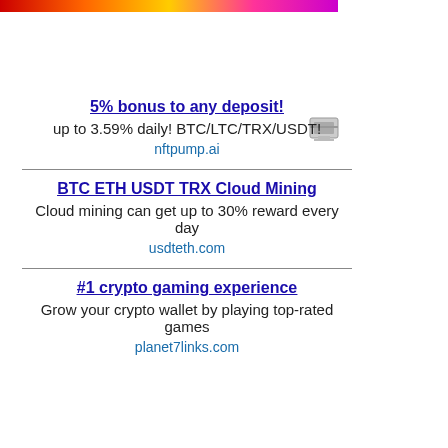[Figure (illustration): Colorful banner strip at top of page with red, orange, yellow, pink, purple gradient colors]
5% bonus to any deposit!
up to 3.59% daily! BTC/LTC/TRX/USDT!
nftpump.ai
BTC ETH USDT TRX Cloud Mining
Cloud mining can get up to 30% reward every day
usdteth.com
#1 crypto gaming experience
Grow your crypto wallet by playing top-rated games
planet7links.com